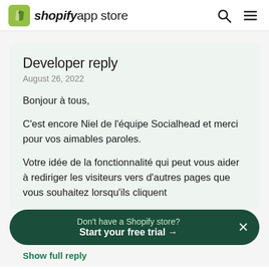shopify app store
Developer reply
August 26, 2022
Bonjour à tous,

C'est encore Niel de l'équipe Socialhead et merci pour vos aimables paroles.

Votre idée de la fonctionnalité qui peut vous aider à rediriger les visiteurs vers d'autres pages que vous souhaitez lorsqu'ils cliquent
Don't have a Shopify store?
Start your free trial →
Show full reply